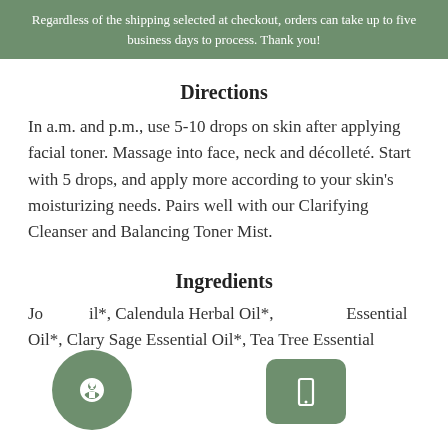Regardless of the shipping selected at checkout, orders can take up to five business days to process. Thank you!
Directions
In a.m. and p.m., use 5-10 drops on skin after applying facial toner. Massage into face, neck and décolleté. Start with 5 drops, and apply more according to your skin's moisturizing needs. Pairs well with our Clarifying Cleanser and Balancing Toner Mist.
Ingredients
Jojoba Oil*, Calendula Herbal Oil*, Lavender Essential Oil*, Clary Sage Essential Oil*, Tea Tree Essential